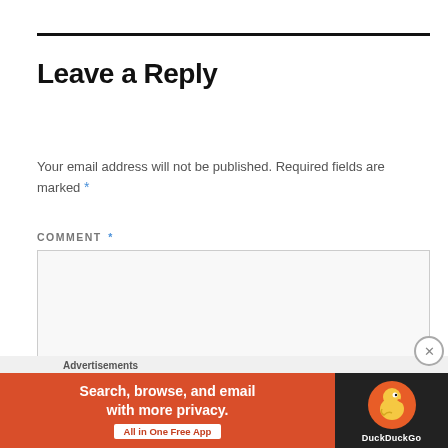Leave a Reply
Your email address will not be published. Required fields are marked *
COMMENT *
[Figure (screenshot): Empty comment text area input box]
[Figure (infographic): DuckDuckGo advertisement banner: Search, browse, and email with more privacy. All in One Free App]
Advertisements